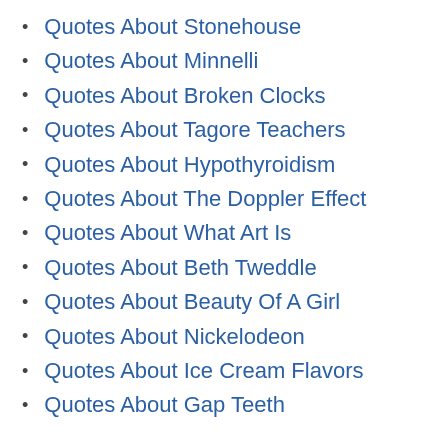Quotes About Stonehouse
Quotes About Minnelli
Quotes About Broken Clocks
Quotes About Tagore Teachers
Quotes About Hypothyroidism
Quotes About The Doppler Effect
Quotes About What Art Is
Quotes About Beth Tweddle
Quotes About Beauty Of A Girl
Quotes About Nickelodeon
Quotes About Ice Cream Flavors
Quotes About Gap Teeth